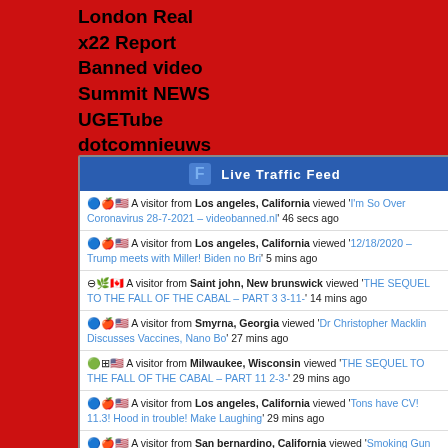London Real
x22 Report
Banned video
Summit NEWS
UGETube
dotcomnieuws
Live Traffic Feed
🔵🍎🇺🇸 A visitor from Los angeles, California viewed 'I'm So Over Coronavirus 28-7-2021 – videobanned.nl' 46 secs ago
🔵🍎🇺🇸 A visitor from Los angeles, California viewed '12/18/2020 – Trump meets with Miller! Biden no Bri' 5 mins ago
⊖🌿🇨🇦 A visitor from Saint john, New brunswick viewed 'THE SEQUEL TO THE FALL OF THE CABAL – PART 3 3-11-' 14 mins ago
🔵🍎🇺🇸 A visitor from Smyrna, Georgia viewed 'Dr Christopher Macklin Discusses Vaccines, Nano Bo' 27 mins ago
🟢⊞🇺🇸 A visitor from Milwaukee, Wisconsin viewed 'THE SEQUEL TO THE FALL OF THE CABAL – PART 11 2-3-' 29 mins ago
🔵🍎🇺🇸 A visitor from Los angeles, California viewed 'Tons have CV! 11.3! Hood in trouble! Make Laughing' 29 mins ago
🔵🍎🇺🇸 A visitor from San bernardino, California viewed 'Smoking Gun Proof That The Covid Pandemic Is A Sca' 29 mins ago
🔵🍎🇺🇸 A visitor from Seattle, Washington viewed '2/8/2021 Vid#2 – Mother Teresa charity investigati' 38 mins ago